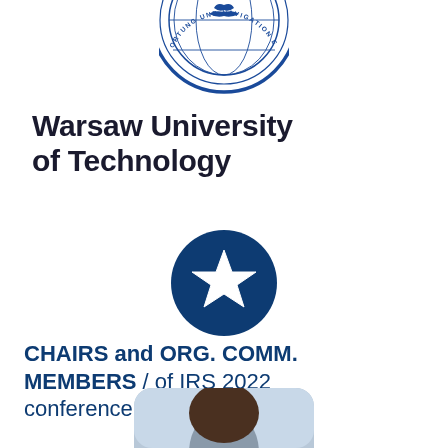[Figure (logo): Circular blue organizational logo/seal with globe and text 'ORTUNG UND NAVIGATION E' visible around the rim, partially cropped at top]
Warsaw University of Technology
[Figure (logo): Dark navy blue circle containing a white star icon in the center]
CHAIRS and ORG. COMM. MEMBERS / of IRS 2022 conference
[Figure (photo): Partial photo of a person's head at the bottom of the page, cropped, showing dark hair against a light background, with rounded top corners]